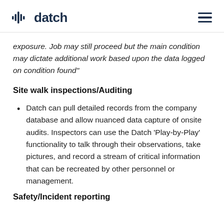datch
exposure. Job may still proceed but the main condition may dictate additional work based upon the data logged on condition found"
Site walk inspections/Auditing
Datch can pull detailed records from the company database and allow nuanced data capture of onsite audits. Inspectors can use the Datch ‘Play-by-Play’ functionality to talk through their observations, take pictures, and record a stream of critical information that can be recreated by other personnel or management.
Safety/Incident reporting